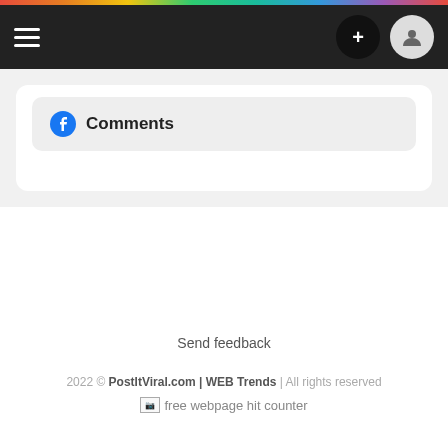Navigation bar with hamburger menu, plus button, and user icon
Facebook Comments
Send feedback
2022 © PostItViral.com | WEB Trends | All rights reserved
free webpage hit counter